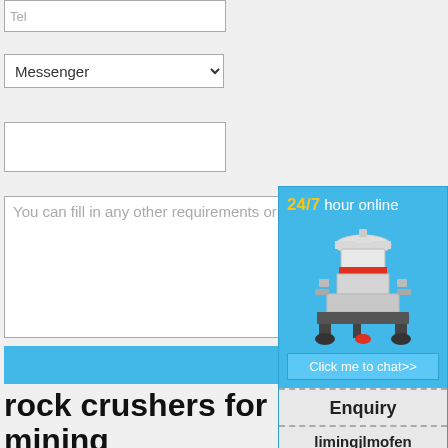[Figure (screenshot): Web form showing Tel input field at top]
[Figure (screenshot): Messenger dropdown select box]
[Figure (screenshot): Empty input box]
You can fill in any other requirements or questions
[Figure (infographic): Floating chat panel with '24/7 hour online' text, cone crusher machine illustration, 'Click me to chat>>' button, 'Enquiry' section and 'limingjlmofen' section]
[Figure (screenshot): Order Now button (blue)]
rock crushers for p mining